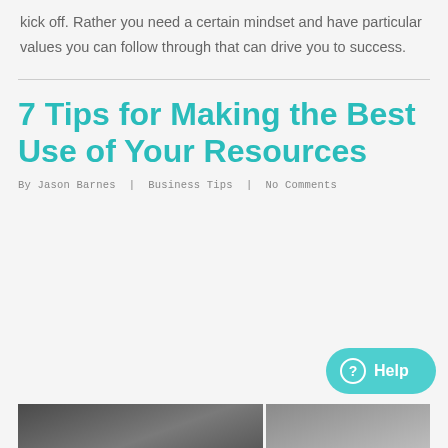kick off. Rather you need a certain mindset and have particular values you can follow through that can drive you to success.
7 Tips for Making the Best Use of Your Resources
By Jason Barnes | Business Tips | No Comments
[Figure (photo): Two-panel photo strip at the bottom of the page, showing partially visible images]